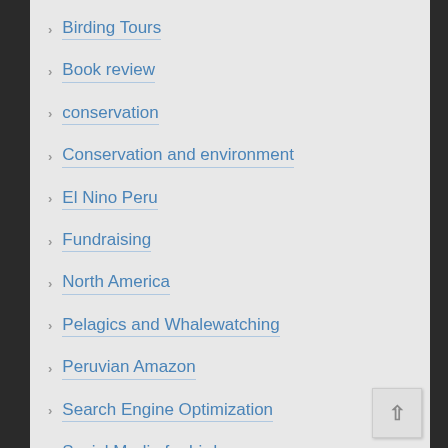Birding Tours
Book review
conservation
Conservation and environment
El Nino Peru
Fundraising
North America
Pelagics and Whalewatching
Peruvian Amazon
Search Engine Optimization
Social Media for birders
South Peru
Uncategorized